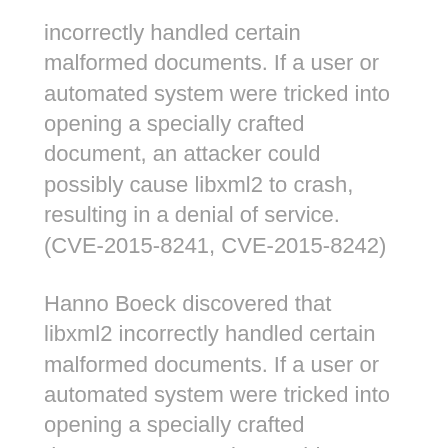incorrectly handled certain malformed documents. If a user or automated system were tricked into opening a specially crafted document, an attacker could possibly cause libxml2 to crash, resulting in a denial of service. (CVE-2015-8241, CVE-2015-8242)
Hanno Boeck discovered that libxml2 incorrectly handled certain malformed documents. If a user or automated system were tricked into opening a specially crafted document, an attacker could possibly cause libxml2 to crash, resulting in a denial of service. This issue only applied to Ubuntu 12.04 LTS, Ubuntu 14.04 LTS and Ubuntu 15.04. (CVE-2015-8317)
The Cloud Foundry project released a BOSH stemcell version 3146.1 and 3155 that has the